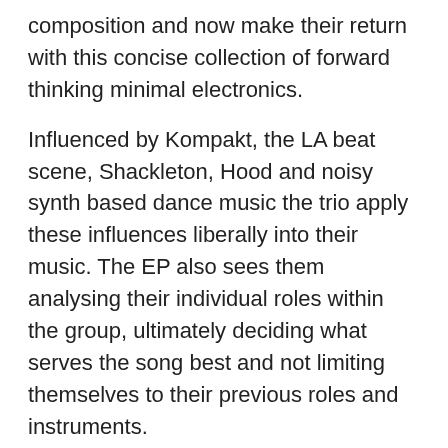composition and now make their return with this concise collection of forward thinking minimal electronics.
Influenced by Kompakt, the LA beat scene, Shackleton, Hood and noisy synth based dance music the trio apply these influences liberally into their music. The EP also sees them analysing their individual roles within the group, ultimately deciding what serves the song best and not limiting themselves to their previous roles and instruments.
Five Points is the culmination of these efforts, yielding the groups most immediate and accessible work to date. The EP represents a huge leap forward in both song writing and production, as well as a new found confidence in the vocals of both Ahmad and Dorrian. Vocal duties are shared equally between the two with Ahmad's softly sung melodies complimented by Dorrian's richly brazen